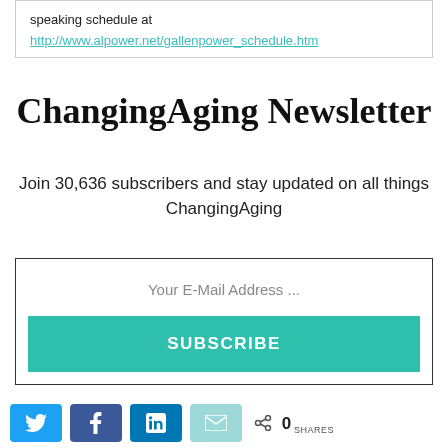speaking schedule at http://www.alpower.net/gallenpower_schedule.htm
ChangingAging Newsletter
Join 30,636 subscribers and stay updated on all things ChangingAging
Your E-Mail Address ...
SUBSCRIBE
0 SHARES